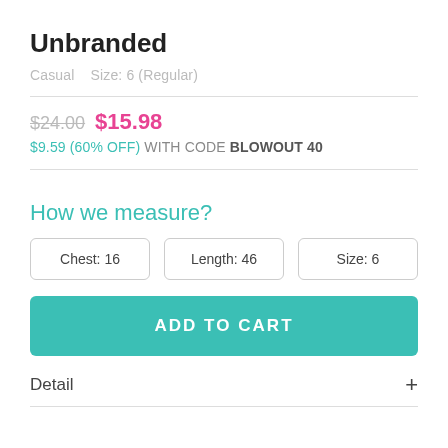Unbranded
Casual    Size: 6 (Regular)
$24.00  $15.98
$9.59 (60% OFF) WITH CODE BLOWOUT 40
How we measure?
Chest: 16    Length: 46    Size: 6
ADD TO CART
Detail +